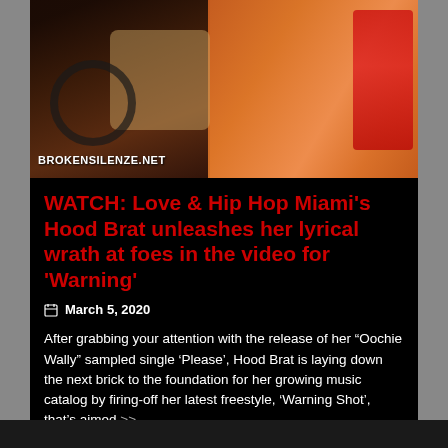[Figure (photo): Photo of a woman in a leopard print outfit sitting in a red car interior, with 'BROKENSILENZE.NET' watermark visible in the lower left of the image]
WATCH: Love & Hip Hop Miami's Hood Brat unleashes her lyrical wrath at foes in the video for 'Warning'
March 5, 2020
After grabbing your attention with the release of her “Oochie Wally” sampled single ‘Please’, Hood Brat is laying down the next brick to the foundation for her growing music catalog by firing-off her latest freestyle, ‘Warning Shot’, that’s aimed >>